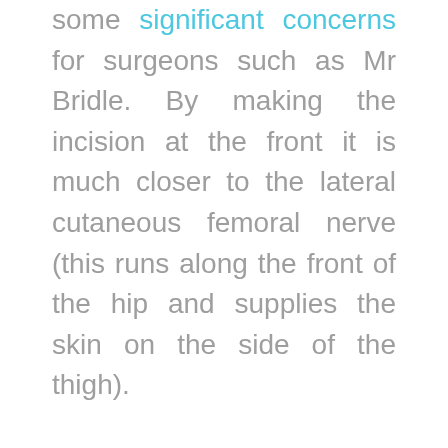some significant concerns for surgeons such as Mr Bridle. By making the incision at the front it is much closer to the lateral cutaneous femoral nerve (this runs along the front of the hip and supplies the skin on the side of the thigh).

In some cases patients have reported feeling numb in the top of their thighs following an anterior hip replacement, as a result of damage to this nerve and this can be very